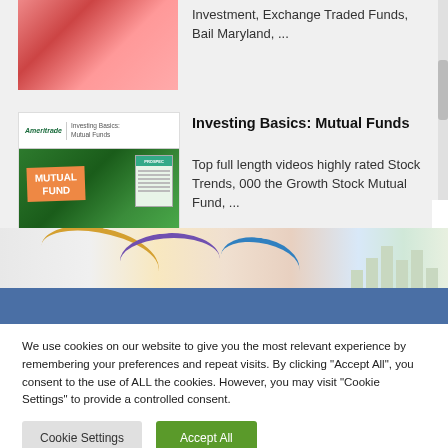Investment, Exchange Traded Funds, Bail Maryland, ...
[Figure (illustration): Thumbnail image for Investing Basics: Mutual Funds video with Ameritrade logo, showing a green diamond shape background with a red 'MUTUAL FUND' tag and a prospectus card]
Investing Basics: Mutual Funds
Top full length videos highly rated Stock Trends, 000 the Growth Stock Mutual Fund, ...
[Figure (illustration): Colorful banner strip with swirls and bar charts, followed by a blue horizontal stripe]
We use cookies on our website to give you the most relevant experience by remembering your preferences and repeat visits. By clicking "Accept All", you consent to the use of ALL the cookies. However, you may visit "Cookie Settings" to provide a controlled consent.